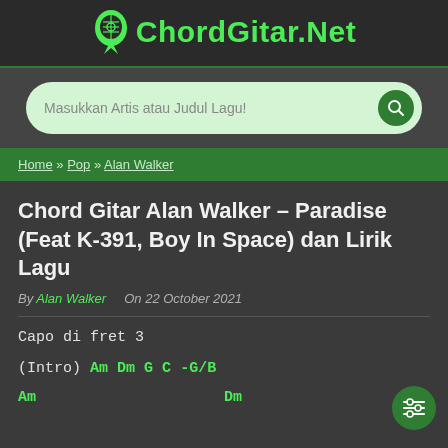ChordGitar.Net
Masukkan Artis atau Judul Lagu!
Home » Pop » Alan Walker
Chord Gitar Alan Walker – Paradise (Feat K-391, Boy In Space) dan Lirik Lagu
By Alan Walker   On 22 October 2021
Capo di fret 3
(Intro) Am Dm G C -G/B
Am    Dm